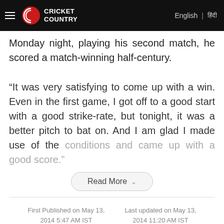Cricket Country | English | हिंदी
Monday night, playing his second match, he scored a match-winning half-century.
“It was very satisfying to come up with a win. Even in the first game, I got off to a good start with a good strike-rate, but tonight, it was a better pitch to bat on. And I am glad I made use of the conditions and came up with a good score.”
Read More
First Published on May 13, 2014 5:47 AM IST | Last updated on May 13, 2014 11:20 AM IST